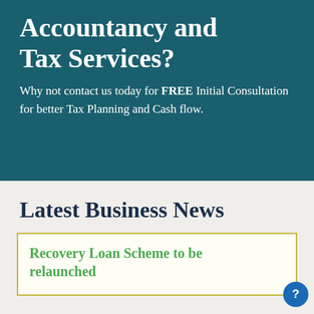Accountancy and Tax Services?
Why not contact us today for FREE Initial Consultation for better Tax Planning and Cash flow.
Latest Business News
Recovery Loan Scheme to be relaunched